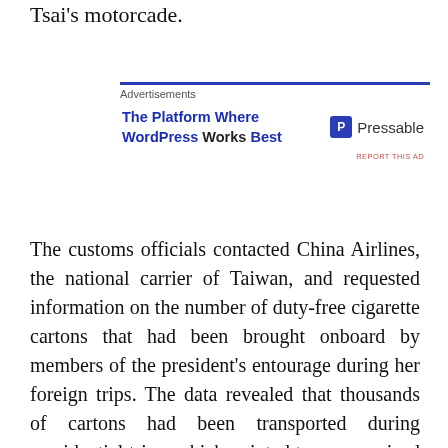Tsai's motorcade.
[Figure (other): Advertisement banner for Pressable: 'The Platform Where WordPress Works Best' with Pressable logo]
The customs officials contacted China Airlines, the national carrier of Taiwan, and requested information on the number of duty-free cigarette cartons that had been brought onboard by members of the president's entourage during her foreign trips. The data revealed that thousands of cartons had been transported during presidential trips, which pointed to an organized smuggling operation by dozens of members of Tsai's entourage. A subsequent investigation by the National Security Bureau (NSB), Taiwan's spy service, revealed that the smuggling network had begun operating during the presidency of Ma Ying-